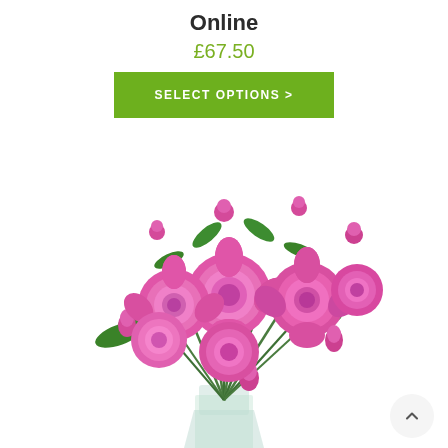Online
£67.50
SELECT OPTIONS >
[Figure (photo): A bouquet of bright pink peony flowers with green leaves in a clear glass vase on a white background. The peonies range from fully bloomed to buds.]